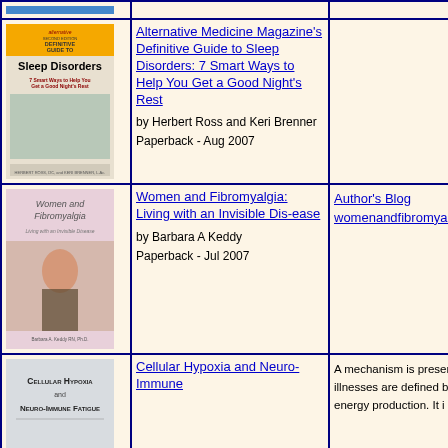[Figure (other): Blue banner/header image strip at top]
[Figure (photo): Book cover: Alternative Medicine Magazine's Definitive Guide to Sleep Disorders]
Alternative Medicine Magazine's Definitive Guide to Sleep Disorders: 7 Smart Ways to Help You Get a Good Night's Rest by Herbert Ross and Keri Brenner Paperback - Aug 2007
[Figure (photo): Book cover: Women and Fibromyalgia: Living with an Invisible Dis-ease by Barbara A Keddy]
Women and Fibromyalgia: Living with an Invisible Dis-ease by Barbara A Keddy Paperback - Jul 2007
Author's Blog womenandfibromyalgi
[Figure (photo): Book cover: Cellular Hypoxia and Neuro-Immune Fatigue]
Cellular Hypoxia and Neuro-Immune
A mechanism is presented illnesses are defined by energy production. It is